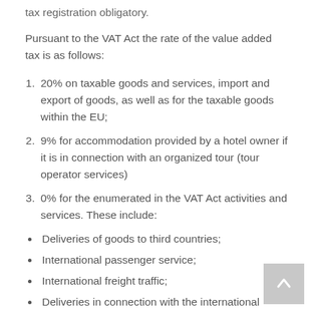tax registration obligatory.
Pursuant to the VAT Act the rate of the value added tax is as follows:
20% on taxable goods and services, import and export of goods, as well as for the taxable goods within the EU;
9% for accommodation provided by a hotel owner if it is in connection with an organized tour (tour operator services)
0% for the enumerated in the VAT Act activities and services. These include:
Deliveries of goods to third countries;
International passenger service;
International freight traffic;
Deliveries in connection with the international market;
Deliveries that are connected with the international exchange of goods;